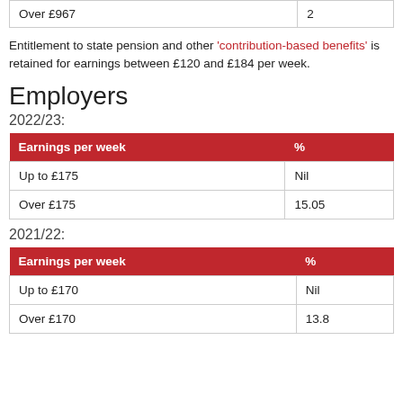|  |  |
| --- | --- |
| Over £967 | 2 |
Entitlement to state pension and other 'contribution-based benefits' is retained for earnings between £120 and £184 per week.
Employers
2022/23:
| Earnings per week | % |
| --- | --- |
| Up to £175 | Nil |
| Over £175 | 15.05 |
2021/22:
| Earnings per week | % |
| --- | --- |
| Up to £170 | Nil |
| Over £170 | 13.8 |